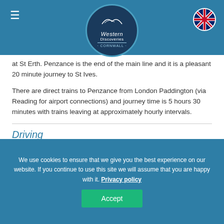Western Discoveries Cornwall (logo)
at St Erth. Penzance is the end of the main line and it is a pleasant 20 minute journey to St Ives.
There are direct trains to Penzance from London Paddington (via Reading for airport connections) and journey time is 5 hours 30 minutes with trains leaving at approximately hourly intervals.
Driving
Driving to West Cornwall is straight forward but journey times can be long and in July/ August heavy traffic can be an issue. Once you leave the motorway (M5), just follow the A30
We use cookies to ensure that we give you the best experience on our website. If you continue to use this site we will assume that you are happy with it. Privacy policy